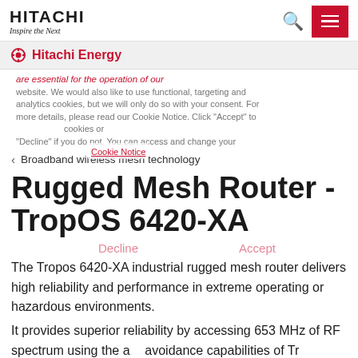HITACHI Inspire the Next | Hitachi Energy
are essential for the operation of our website. We would also like to use functional, targeting and analytics cookies, but we will only do so with your consent. For more details, please read our Cookie Notice. Click "Accept" to or cookies or "Decline" if you do not. You can access and change your settings Cookie Notice
< Broadband wireless mesh technology
Rugged Mesh Router - TropOS 6420-XA
Decline   Accept
The Tropos 6420-XA industrial rugged mesh router delivers high reliability and performance in extreme operating or hazardous environments.
It provides superior reliability by accessing 653 MHz of RF spectrum using the a avoidance capabilities of Tr Tropos 6420-XA uses 802.11a/b/g/n wireless